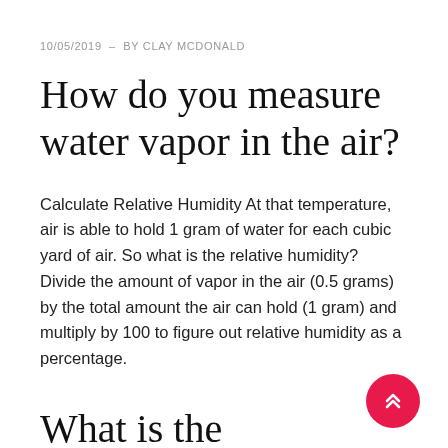10/05/2019 – BY CLAY MCDONALD
How do you measure water vapor in the air?
Calculate Relative Humidity At that temperature, air is able to hold 1 gram of water for each cubic yard of air. So what is the relative humidity? Divide the amount of vapor in the air (0.5 grams) by the total amount the air can hold (1 gram) and multiply by 100 to figure out relative humidity as a percentage.
What is the relationship between air temperature and